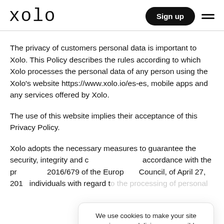xolo | Sign up
The privacy of customers personal data is important to Xolo. This Policy describes the rules according to which Xolo processes the personal data of any person using the Xolo's website https://www.xolo.io/es-es, mobile apps and any services offered by Xolo.
The use of this website implies their acceptance of this Privacy Policy.
Xolo adopts the necessary measures to guarantee the security, integrity and c… accordance with the pr… 2016/679 of the Europ… Council, of April 27, 201… individuals with regard to the processing of personal
We use cookies to make your site experience as delicious as possible.
Learn more.   Crunch